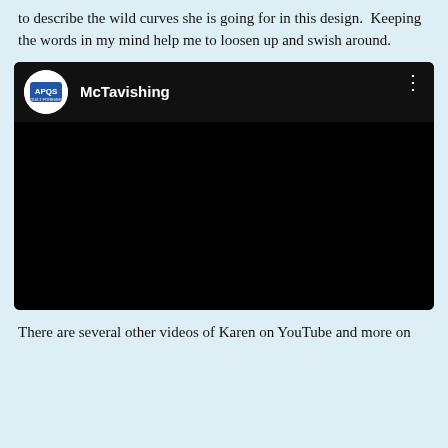to describe the wild curves she is going for in this design.  Keeping the words in my mind help me to loosen up and swish around.
[Figure (screenshot): Embedded YouTube video player showing APQS channel with title 'McTavishing'. The video area is black/unloaded. Channel logo is a white circle with blue APQS logo inside. Three-dot menu icon visible in top right.]
There are several other videos of Karen on YouTube and more on